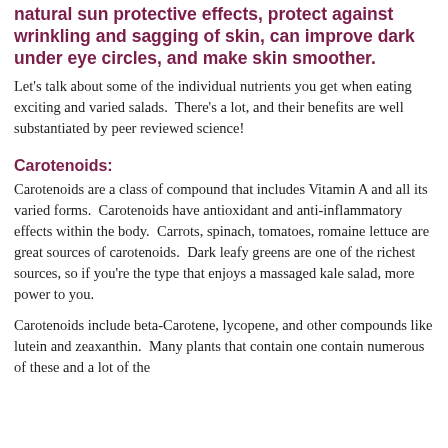natural sun protective effects, protect against wrinkling and sagging of skin, can improve dark under eye circles, and make skin smoother.
Let's talk about some of the individual nutrients you get when eating exciting and varied salads.  There's a lot, and their benefits are well substantiated by peer reviewed science!
Carotenoids:
Carotenoids are a class of compound that includes Vitamin A and all its varied forms.  Carotenoids have antioxidant and anti-inflammatory effects within the body.  Carrots, spinach, tomatoes, romaine lettuce are great sources of carotenoids.  Dark leafy greens are one of the richest sources, so if you're the type that enjoys a massaged kale salad, more power to you.
Carotenoids include beta-Carotene, lycopene, and other compounds like lutein and zeaxanthin.  Many plants that contain one contain numerous of these and a lot of the